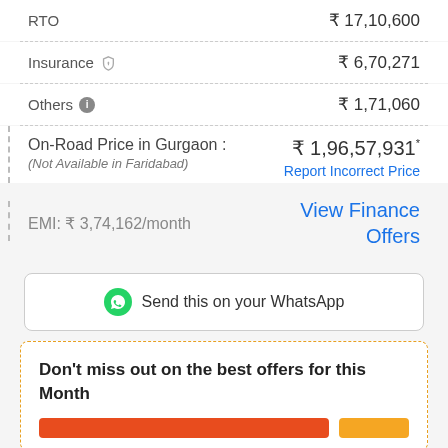RTO   ₹ 17,10,600
Insurance   ₹ 6,70,271
Others   ₹ 1,71,060
On-Road Price in Gurgaon : ₹ 1,96,57,931* (Not Available in Faridabad) Report Incorrect Price
EMI: ₹ 3,74,162/month   View Finance Offers
Send this on your WhatsApp
Don't miss out on the best offers for this Month